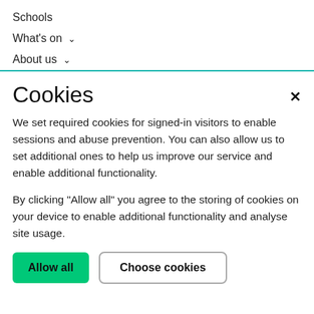Schools
What's on ∨
About us ∨
Cookies
We set required cookies for signed-in visitors to enable sessions and abuse prevention. You can also allow us to set additional ones to help us improve our service and enable additional functionality.
By clicking "Allow all" you agree to the storing of cookies on your device to enable additional functionality and analyse site usage.
Allow all
Choose cookies